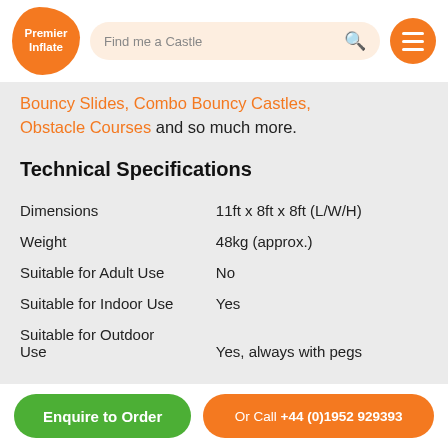Premier Inflate | Find me a Castle
Bouncy Slides, Combo Bouncy Castles, Obstacle Courses and so much more.
Technical Specifications
| Attribute | Value |
| --- | --- |
| Dimensions | 11ft x 8ft x 8ft (L/W/H) |
| Weight | 48kg (approx.) |
| Suitable for Adult Use | No |
| Suitable for Indoor Use | Yes |
| Suitable for Outdoor Use | Yes, always with pegs |
Enquire to Order | Or Call +44 (0)1952 929393